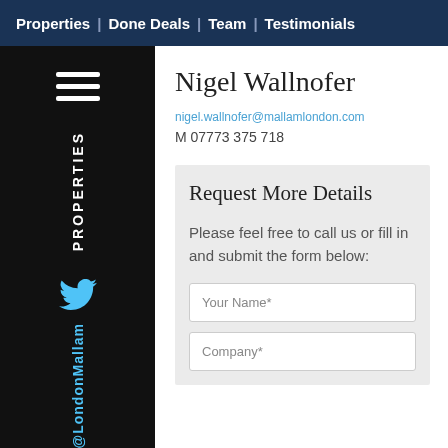Properties | Done Deals | Team | Testimonials
Nigel Wallnofer
nigel.wallnofer@mallamlondon.com
M 07773 375 718
Request More Details
Please feel free to call us or fill in and submit the form below: